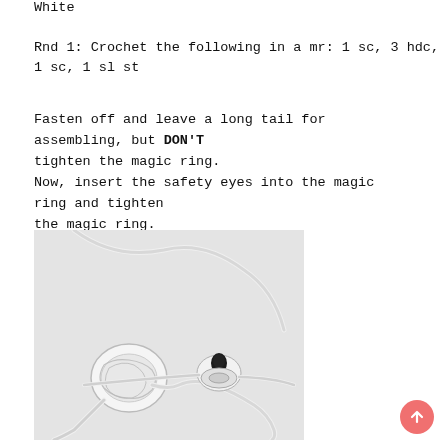White
Rnd 1: Crochet the following in a mr: 1 sc, 3 hdc, 1 sc, 1 sl st
Fasten off and leave a long tail for assembling, but DON'T tighten the magic ring.
Now, insert the safety eyes into the magic ring and tighten the magic ring.
[Figure (photo): Photo of white crochet magic ring with yarn tail and a safety eye with washer on a light gray surface]
[Figure (other): Scroll-to-top button, orange/salmon circle with upward arrow]